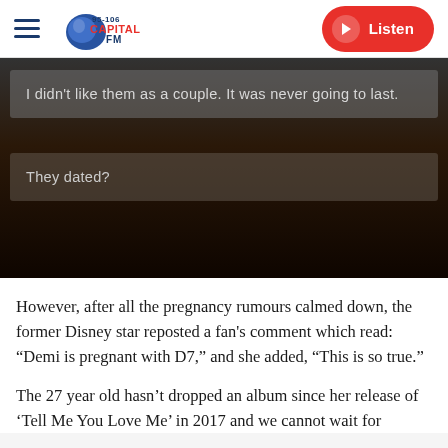Capital FM 95-106 | Listen
[Figure (screenshot): Dark background image with two overlaid comment boxes. Comment 1: 'I didn't like them as a couple. It was never going to last.' Comment 2: 'They dated?']
However, after all the pregnancy rumours calmed down, the former Disney star reposted a fan's comment which read: “Demi is pregnant with D7,” and she added, “This is so true.”
The 27 year old hasn’t dropped an album since her release of ‘Tell Me You Love Me’ in 2017 and we cannot wait for